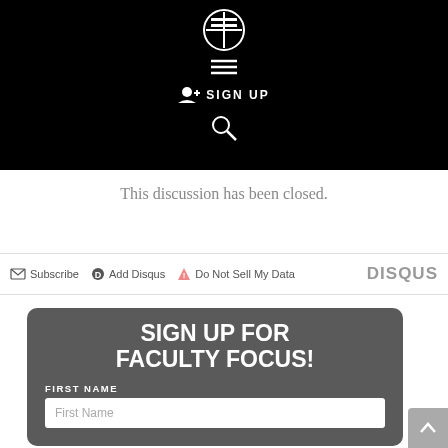[Figure (logo): Faculty Focus logo — white FF icon on black background with hamburger menu icon]
✦ SIGN UP
This discussion has been closed.
Subscribe  Add Disqus  Do Not Sell My Data  DISQUS
SIGN UP FOR FACULTY FOCUS!
FIRST NAME
First Name